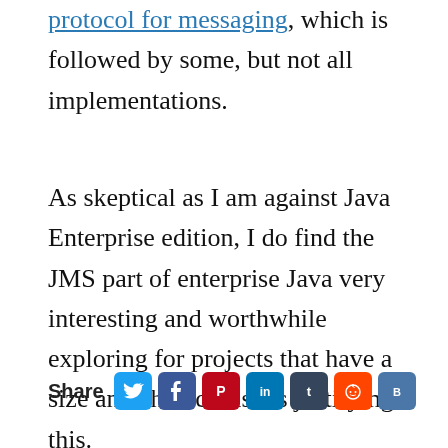protocol for messaging, which is followed by some, but not all implementations.
As skeptical as I am against Java Enterprise edition, I do find the JMS part of enterprise Java very interesting and worthwhile exploring for projects that have a size and characteristics justifying this.
Share [social icons: Twitter, Facebook, Pinterest, LinkedIn, Tumblr, Reddit, VK]